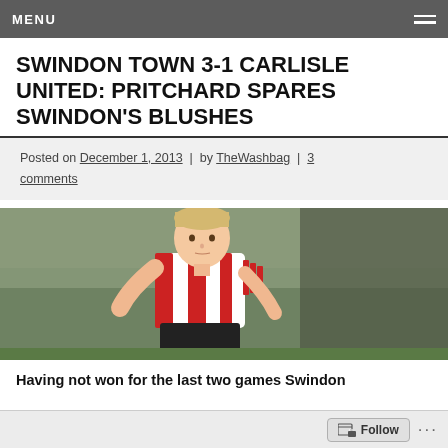MENU
SWINDON TOWN 3-1 CARLISLE UNITED: PRITCHARD SPARES SWINDON'S BLUSHES
Posted on December 1, 2013 | by TheWashbag | 3 comments
[Figure (photo): Photo of a young footballer in red and white Swindon Town kit looking down, in action on the pitch]
Having not won for the last two games Swindon